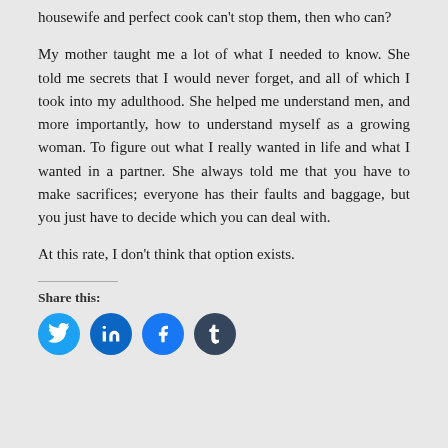housewife and perfect cook can't stop them, then who can?
My mother taught me a lot of what I needed to know. She told me secrets that I would never forget, and all of which I took into my adulthood. She helped me understand men, and more importantly, how to understand myself as a growing woman. To figure out what I really wanted in life and what I wanted in a partner. She always told me that you have to make sacrifices; everyone has their faults and baggage, but you just have to decide which you can deal with.
At this rate, I don't think that option exists.
Share this:
[Figure (infographic): Social media share buttons: Twitter (blue), LinkedIn (blue), Facebook (blue), Tumblr (dark navy)]